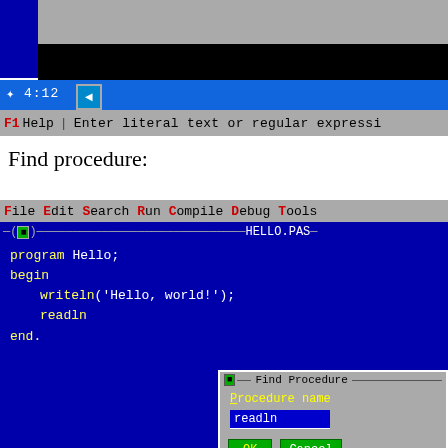[Figure (screenshot): Turbo Pascal IDE screenshot showing a toolbar with 4:12 coordinates, a help bar reading 'F1 Help | Enter literal text or regular expressi', a 'Find procedure:' label, a menu bar with File Edit Search Run Compile Debug Tools, an editor window titled HELLO.PAS with Pascal code (program Hello; begin writeln('Hello, world!'); readln end.), and a 'Find Procedure' dialog box with a 'Procedure name' field containing 'readln', OK and Cancel buttons.]